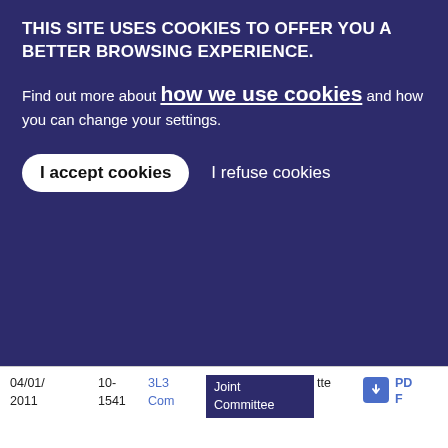THIS SITE USES COOKIES TO OFFER YOU A BETTER BROWSING EXPERIENCE.
Find out more about how we use cookies and how you can change your settings.
I accept cookies   I refuse cookies
r on Audit: Lessons learnt from the Crisis
04/01/2011   10-1541   3L3 Com   Joint Committee   tte   PDF